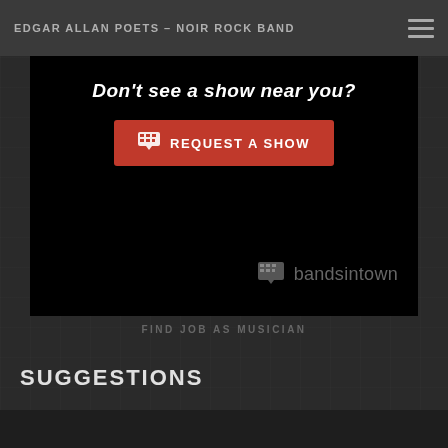EDGAR ALLAN POETS – NOIR ROCK BAND
[Figure (screenshot): Bandsintown embedded widget showing 'Don't see a show near you?' text with a red 'REQUEST A SHOW' button and the bandsintown logo in the lower right corner, all on a black background.]
FIND JOB AS MUSICIAN
SUGGESTIONS